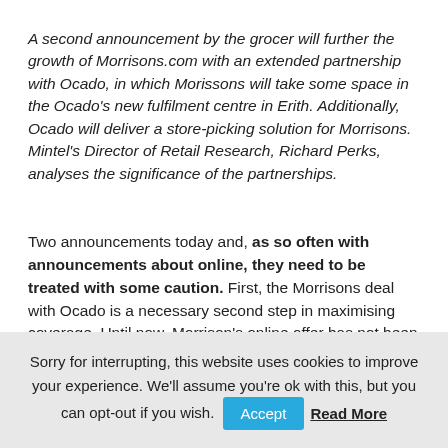A second announcement by the grocer will further the growth of Morrisons.com with an extended partnership with Ocado, in which Morissons will take some space in the Ocado's new fulfilment centre in Erith. Additionally, Ocado will deliver a store-picking solution for Morrisons. Mintel's Director of Retail Research, Richard Perks, analyses the significance of the partnerships.
Two announcements today and, as so often with announcements about online, they need to be treated with some caution. First, the Morrisons deal with Ocado is a necessary second step in maximising coverage. Until now, Morrison's online offer has not been available south...
Sorry for interrupting, this website uses cookies to improve your experience. We'll assume you're ok with this, but you can opt-out if you wish. Accept Read More